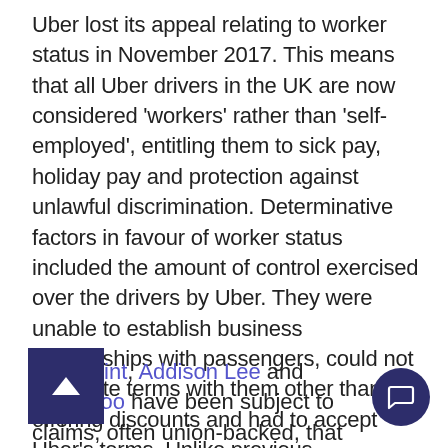Uber lost its appeal relating to worker status in November 2017. This means that all Uber drivers in the UK are now considered 'workers' rather than 'self-employed', entitling them to sick pay, holiday pay and protection against unlawful discrimination. Determinative factors in favour of worker status included the amount of control exercised over the drivers by Uber. They were unable to establish business relationships with passengers, could not negotiate terms with them other than offering discounts and had to accept Uber's terms. Unlike previous unsuccessful taxi driver claims for worker status, Uber was doing more than providing drivers with access to potential new clients.
CitySprint, Addison Lee and Deliveroo have been subject to claims, often union-backed, that...